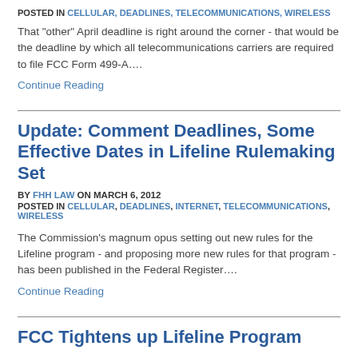POSTED IN CELLULAR, DEADLINES, TELECOMMUNICATIONS, WIRELESS
That "other" April deadline is right around the corner - that would be the deadline by which all telecommunications carriers are required to file FCC Form 499-A….
Continue Reading
Update: Comment Deadlines, Some Effective Dates in Lifeline Rulemaking Set
BY FHH LAW ON MARCH 6, 2012
POSTED IN CELLULAR, DEADLINES, INTERNET, TELECOMMUNICATIONS, WIRELESS
The Commission's magnum opus setting out new rules for the Lifeline program - and proposing more new rules for that program - has been published in the Federal Register….
Continue Reading
FCC Tightens up Lifeline Program